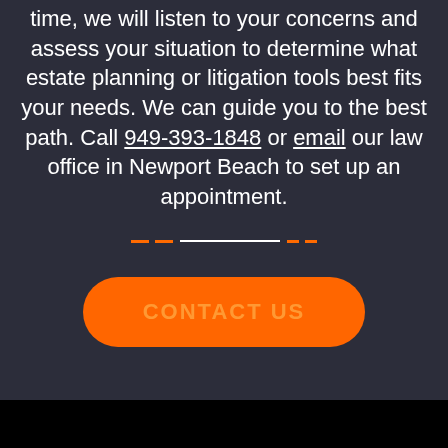time, we will listen to your concerns and assess your situation to determine what estate planning or litigation tools best fits your needs. We can guide you to the best path. Call 949-393-1848 or email our law office in Newport Beach to set up an appointment.
[Figure (other): Decorative divider with orange dashes and a white horizontal line]
CONTACT US